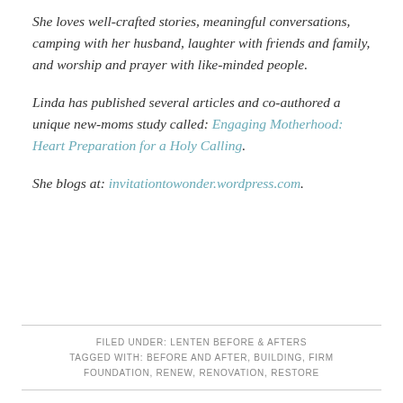She loves well-crafted stories, meaningful conversations, camping with her husband, laughter with friends and family, and worship and prayer with like-minded people.
Linda has published several articles and co-authored a unique new-moms study called: Engaging Motherhood: Heart Preparation for a Holy Calling.
She blogs at: invitationtowonder.wordpress.com.
FILED UNDER: LENTEN BEFORE & AFTERS TAGGED WITH: BEFORE AND AFTER, BUILDING, FIRM FOUNDATION, RENEW, RENOVATION, RESTORE